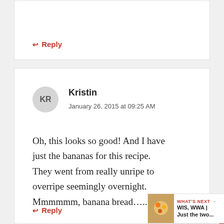↩ Reply
Kristin
January 26, 2015 at 09:25 AM
Oh, this looks so good! And I have just the bananas for this recipe. They went from really unripe to overripe seemingly overnight. Mmmmmm, banana bread…..
↩ Reply